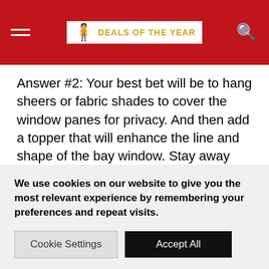DEALS OF THE YEAR
Answer #2: Your best bet will be to hang sheers or fabric shades to cover the window panes for privacy. And then add a topper that will enhance the line and shape of the bay window. Stay away from curtains or heavy drapes that close in front of the whole window area.
Project Planning Tip #2:color> In our eBook, Window
We use cookies on our website to give you the most relevant experience by remembering your preferences and repeat visits.
Cookie Settings   Accept All